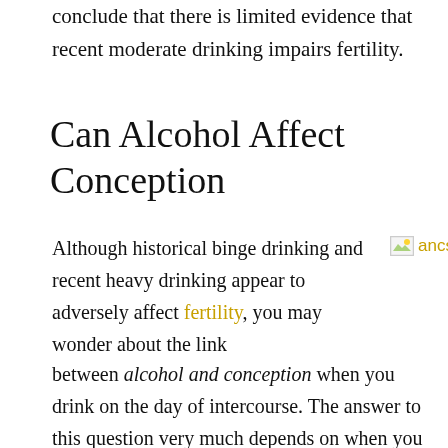conclude that there is limited evidence that recent moderate drinking impairs fertility.
Can Alcohol Affect Conception
Although historical binge drinking and recent heavy drinking appear to adversely affect fertility, you may wonder about the link between alcohol and conception when you drink on the day of intercourse. The answer to this question very much depends on when you drink during your menstrual cycle.
[Figure (photo): Image placeholder labeled 'ancsa 005']